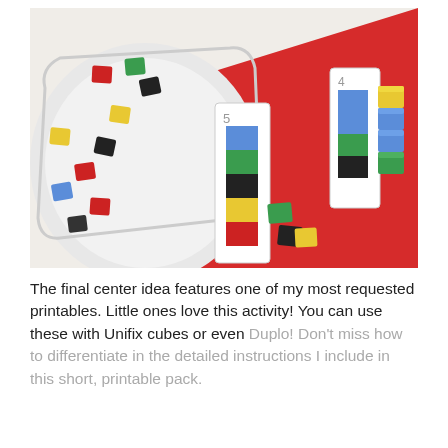[Figure (photo): Photo of colorful Unifix cubes scattered on a white tray and red surface. Color pattern cards with stacked colored squares (blue, green, black, yellow) are visible on the red mat. Small plastic cubes in yellow, red, black, green, blue colors are arranged near the cards.]
The final center idea features one of my most requested printables. Little ones love this activity! You can use these with Unifix cubes or even Duplo! Don't miss how to differentiate in the detailed instructions I include in this short, printable pack.